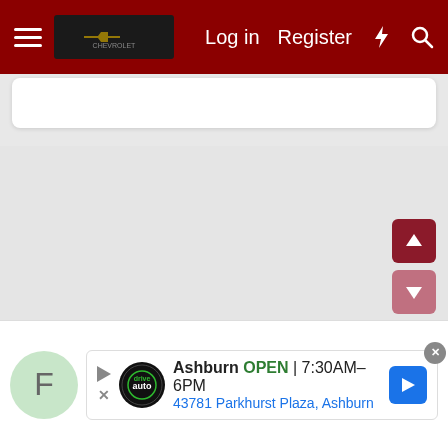Navigation bar with hamburger menu, logo, Log in, Register, lightning icon, search icon
[Figure (screenshot): White card area below navigation bar]
[Figure (screenshot): Main grey content area]
[Figure (screenshot): Scroll up button (dark red, arrow up) and scroll down button (pink, arrow down)]
[Figure (screenshot): Bottom advertisement bar: avatar F, Ashburn auto dealership ad - OPEN 7:30AM-6PM, 43781 Parkhurst Plaza, Ashburn, with navigation arrow and close button]